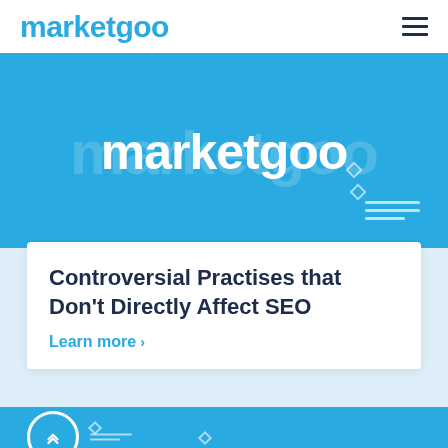marketgoo
[Figure (screenshot): Blue hero banner with marketgoo logo text in white on a blue background, with decorative elements]
Controversial Practises that Don’t Directly Affect SEO
Learn more >
[Figure (screenshot): Bottom portion of a second blue banner card with scroll-to-top button and decorative lines]